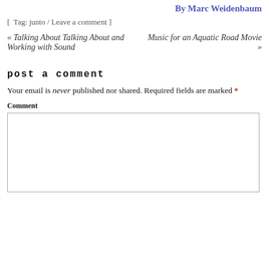By Marc Weidenbaum
[ Tag: junto / Leave a comment ]
« Talking About Talking About and Working with Sound
Music for an Aquatic Road Movie »
post a comment
Your email is never published nor shared. Required fields are marked *
Comment